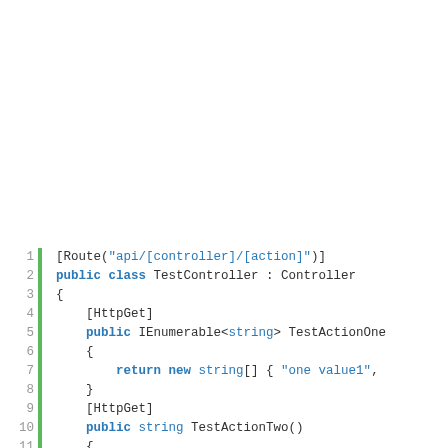[Figure (screenshot): Code screenshot showing C# ASP.NET controller code with line numbers 1-14 and a green vertical bar. Code includes Route attribute, public class TestController : Controller, HttpGet attributes, and two action methods TestActionOne and TestActionTwo.]